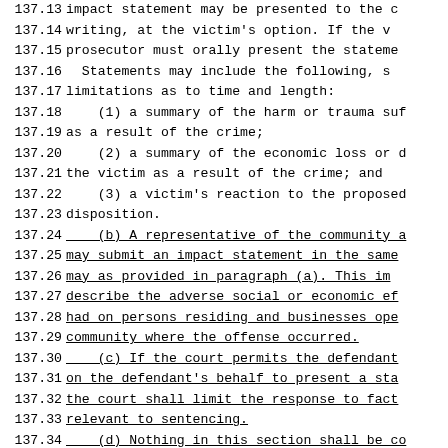137.13  impact statement may be presented to the c
137.14  writing, at the victim's option.  If the v
137.15  prosecutor must orally present the stateme
137.16    Statements may include the following, s
137.17  limitations as to time and length:
137.18      (1) a summary of the harm or trauma suf
137.19  as a result of the crime;
137.20      (2) a summary of the economic loss or d
137.21  the victim as a result of the crime; and
137.22      (3) a victim's reaction to the proposed
137.23  disposition.
137.24      (b) A representative of the community a
137.25  may submit an impact statement in the same
137.26  may as provided in paragraph (a).  This im
137.27  describe the adverse social or economic ef
137.28  had on persons residing and businesses ope
137.29  community where the offense occurred.
137.30      (c) If the court permits the defendant
137.31  on the defendant's behalf to present a sta
137.32  the court shall limit the response to fact
137.33  relevant to sentencing.
137.34      (d) Nothing in this section shall be co
137.35  the defendant's right to address the court